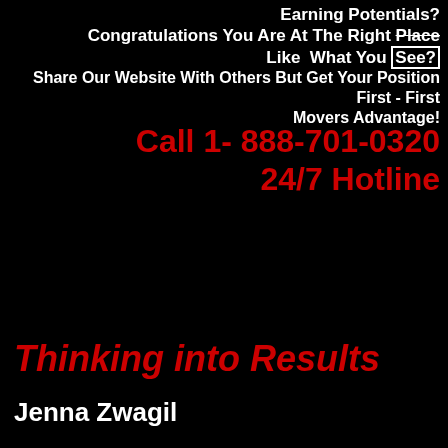Earning Potentials?
Congratulations You Are At The Right Place
Like  What You See?
Share Our Website With Others But Get Your Position First - First Movers Advantage!
Call 1- 888-701-0320
24/7 Hotline
Thinking into Results
Jenna Zwagil